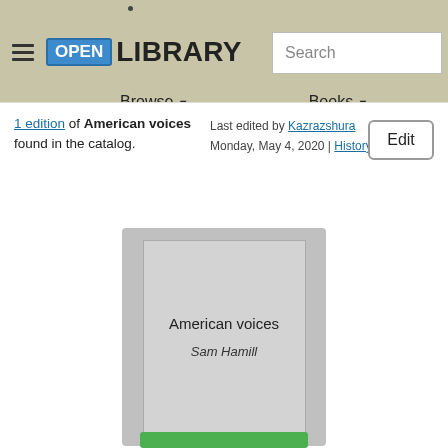Open Library — Browse / Books navigation with Search
1 edition of American voices found in the catalog.
Last edited by Kazrazshura
Monday, May 4, 2020 | History
Edit
[Figure (illustration): Book cover placeholder card showing title 'American voices' and author 'Sam Hamill' on a grey background]
American voices
Sam Hamill